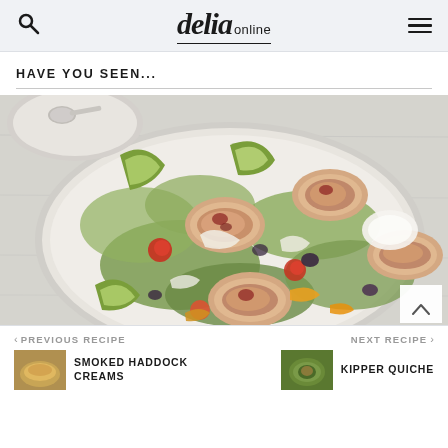delia online
HAVE YOU SEEN...
[Figure (photo): Overhead close-up photo of a salad on a large plate with rolled chicken/meat pieces, lettuce, avocado, olives, tomatoes, and a spoon on a side plate, on a white wooden surface.]
< PREVIOUS RECIPE  SMOKED HADDOCK CREAMS    NEXT RECIPE >  KIPPER QUICHE